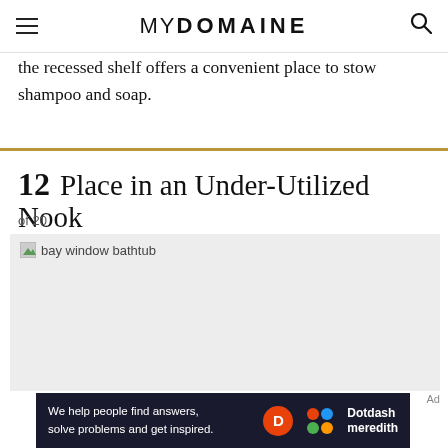MYDOMAINE
the recessed shelf offers a convenient place to stow shampoo and soap.
12  Place in an Under-Utilized Nook
of 20
[Figure (photo): bay window bathtub — image placeholder showing broken image icon with alt text]
Ad
[Figure (other): Dotdash Meredith advertisement banner: 'We help people find answers, solve problems and get inspired.']